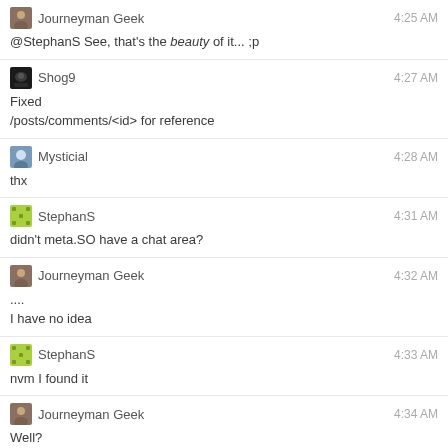Journeyman Geek 4:25 AM
@StephanS See, that's the beauty of it... ;p
Shog9 4:27 AM
Fixed
/posts/comments/<id> for reference
Mysticial 4:28 AM
thx
StephanS 4:31 AM
didn't meta.SO have a chat area?
Journeyman Geek 4:32 AM
....
I have no idea
StephanS 4:33 AM
nvm I found it
Journeyman Geek 4:34 AM
Well?
Did it?
gets the lamp
DID IT?